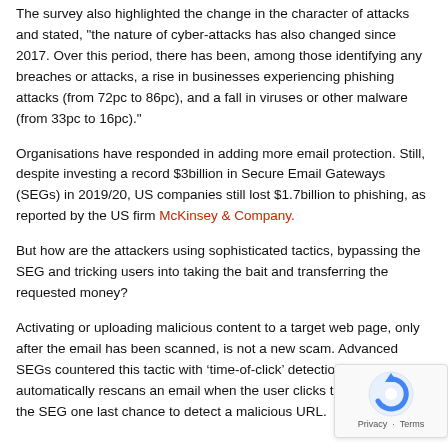The survey also highlighted the change in the character of attacks and stated, "the nature of cyber-attacks has also changed since 2017. Over this period, there has been, among those identifying any breaches or attacks, a rise in businesses experiencing phishing attacks (from 72pc to 86pc), and a fall in viruses or other malware (from 33pc to 16pc)."
Organisations have responded in adding more email protection. Still, despite investing a record $3billion in Secure Email Gateways (SEGs) in 2019/20, US companies still lost $1.7billion to phishing, as reported by the US firm McKinsey & Company.
But how are the attackers using sophisticated tactics, bypassing the SEG and tricking users into taking the bait and transferring the requested money?
Activating or uploading malicious content to a target web page, only after the email has been scanned, is not a new scam. Advanced SEGs countered this tactic with ‘time-of-click’ detection, which automatically rescans an email when the user clicks the link. It gives the SEG one last chance to detect a malicious URL.